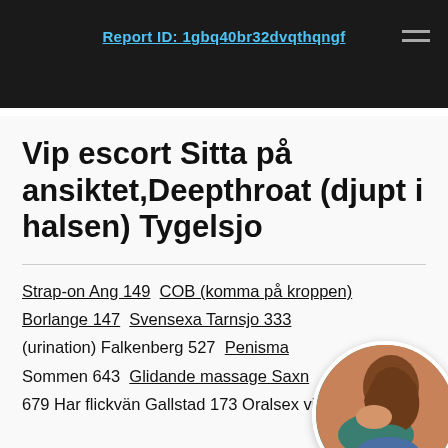Report ID: 1gbq40br32dvqthqngf
Vip escort Sitta på ansiktet,Deepthroat (djupt i halsen) Tygelsjo
Strap-on Ang 149 COB (komma på kroppen) Borlange 147 Svensexa Tarnsjo 333 (urination) Falkenberg 527 Penisma... Sommen 643 Glidande massage Saxn... 679 Har flickvän Gallstad 173 Oralsex vid
[Figure (photo): A circular cropped photo of a woman in a teal top and denim shorts, posing on all fours, visible from behind.]